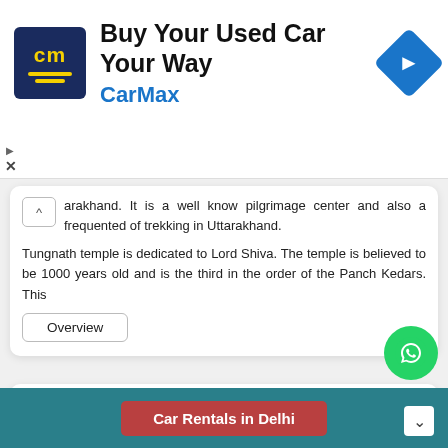[Figure (screenshot): CarMax advertisement banner with logo, headline 'Buy Your Used Car Your Way', brand name 'CarMax', and a blue navigation arrow icon]
arakhand. It is a well know pilgrimage center and also a frequented of trekking in Uttarakhand.
Tungnath temple is dedicated to Lord Shiva. The temple is believed to be 1000 years old and is the third in the order of the Panch Kedars. This
Overview
28. Binsar Mahadev Mandir (Near Ranikhet)
Car Rentals in Delhi